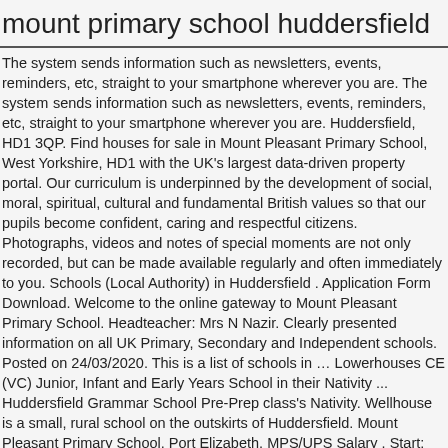mount primary school huddersfield
The system sends information such as newsletters, events, reminders, etc, straight to your smartphone wherever you are. The system sends information such as newsletters, events, reminders, etc, straight to your smartphone wherever you are. Huddersfield, HD1 3QP. Find houses for sale in Mount Pleasant Primary School, West Yorkshire, HD1 with the UK's largest data-driven property portal. Our curriculum is underpinned by the development of social, moral, spiritual, cultural and fundamental British values so that our pupils become confident, caring and respectful citizens. Photographs, videos and notes of special moments are not only recorded, but can be made available regularly and often immediately to you. Schools (Local Authority) in Huddersfield . Application Form Download. Welcome to the online gateway to Mount Pleasant Primary School. Headteacher: Mrs N Nazir. Clearly presented information on all UK Primary, Secondary and Independent schools. Posted on 24/03/2020. This is a list of schools in … Lowerhouses CE (VC) Junior, Infant and Early Years School in their Nativity ... Huddersfield Grammar School Pre-Prep class's Nativity. Wellhouse is a small, rural school on the outskirts of Huddersfield. Mount Pleasant Primary School. Port Elizabeth. MPS/UPS Salary . Start: 08:00. Hello